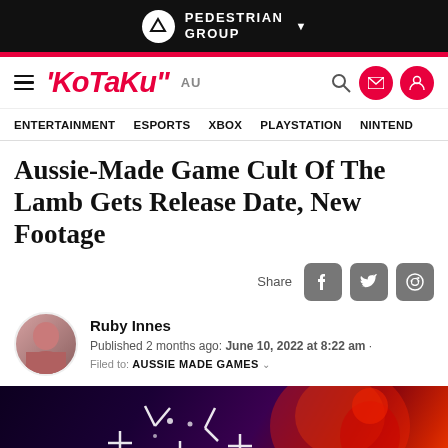PEDESTRIAN GROUP
[Figure (screenshot): Kotaku AU website header with navigation bar showing ENTERTAINMENT, ESPORTS, XBOX, PLAYSTATION, NINTENDO]
Aussie-Made Game Cult Of The Lamb Gets Release Date, New Footage
Share
Ruby Innes
Published 2 months ago: June 10, 2022 at 8:22 am
Filed to: AUSSIE MADE GAMES
[Figure (screenshot): Game screenshot from Cult of the Lamb showing dark fantasy art with glowing red demon figure and white cross/sword symbols]